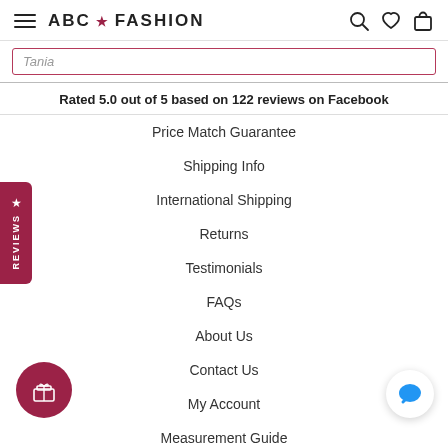ABC ★ FASHION
Tania
Rated 5.0 out of 5 based on 122 reviews on Facebook
Price Match Guarantee
Shipping Info
International Shipping
Returns
Testimonials
FAQs
About Us
Contact Us
My Account
Measurement Guide